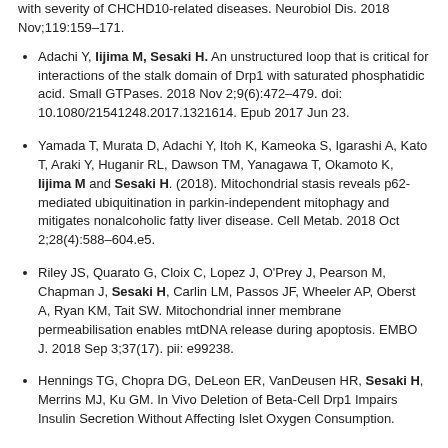with severity of CHCHD10-related diseases. Neurobiol Dis. 2018 Nov;119:159-171.
Adachi Y, Iijima M, Sesaki H. An unstructured loop that is critical for interactions of the stalk domain of Drp1 with saturated phosphatidic acid. Small GTPases. 2018 Nov 2;9(6):472-479. doi: 10.1080/21541248.2017.1321614. Epub 2017 Jun 23.
Yamada T, Murata D, Adachi Y, Itoh K, Kameoka S, Igarashi A, Kato T, Araki Y, Huganir RL, Dawson TM, Yanagawa T, Okamoto K, Iijima M and Sesaki H. (2018). Mitochondrial stasis reveals p62-mediated ubiquitination in parkin-independent mitophagy and mitigates nonalcoholic fatty liver disease. Cell Metab. 2018 Oct 2;28(4):588-604.e5.
Riley JS, Quarato G, Cloix C, Lopez J, O'Prey J, Pearson M, Chapman J, Sesaki H, Carlin LM, Passos JF, Wheeler AP, Oberst A, Ryan KM, Tait SW. Mitochondrial inner membrane permeabilisation enables mtDNA release during apoptosis. EMBO J. 2018 Sep 3;37(17). pii: e99238.
Hennings TG, Chopra DG, DeLeon ER, VanDeusen HR, Sesaki H, Merrins MJ, Ku GM. In Vivo Deletion of Beta-Cell Drp1 Impairs Insulin Secretion Without Affecting Islet Oxygen Consumption.